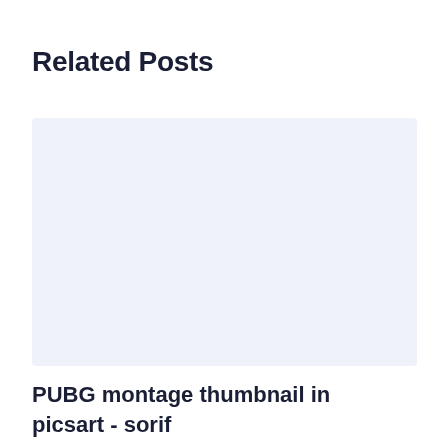Related Posts
[Figure (illustration): Blank placeholder image with light blue-grey background]
PUBG montage thumbnail in picsart - sorif